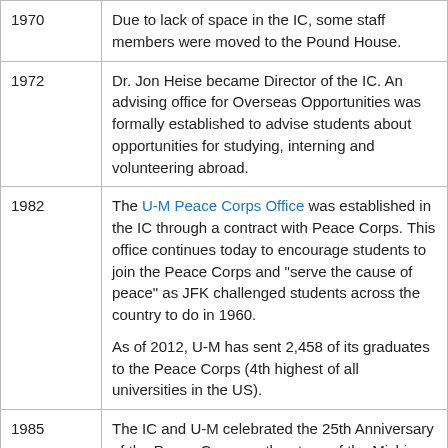| Year | Description |
| --- | --- |
| 1970 | Due to lack of space in the IC, some staff members were moved to the Pound House. |
| 1972 | Dr. Jon Heise became Director of the IC. An advising office for Overseas Opportunities was formally established to advise students about opportunities for studying, interning and volunteering abroad. |
| 1982 | The U-M Peace Corps Office was established in the IC through a contract with Peace Corps. This office continues today to encourage students to join the Peace Corps and "serve the cause of peace" as JFK challenged students across the country to do in 1960.

As of 2012, U-M has sent 2,458 of its graduates to the Peace Corps (4th highest of all universities in the US). |
| 1985 | The IC and U-M celebrated the 25th Anniversary of the Peace Corps on the steps of the Michigan Union. Vice President George H.W. Bush spoke. |
| 1994 | Mr. Zahir Ahmed became director of the IC. |
|  | IC Associate Director, Kay Clifford, served in a NAFSA national position as Chair of the Council of Advisors for... |